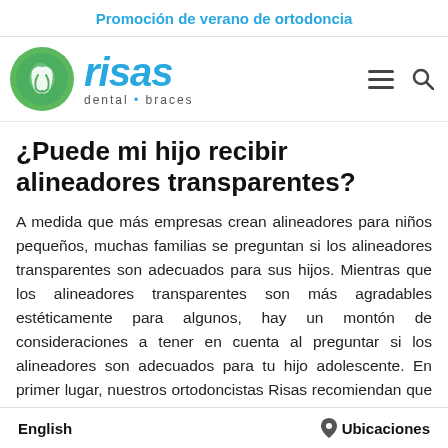Promoción de verano de ortodoncia
[Figure (logo): Risas Dental Braces logo with green circular icon and blue italic 'risas' wordmark, subtitle 'dental • braces']
¿Puede mi hijo recibir alineadores transparentes?
A medida que más empresas crean alineadores para niños pequeños, muchas familias se preguntan si los alineadores transparentes son adecuados para sus hijos. Mientras que los alineadores transparentes son más agradables estéticamente para algunos, hay un montón de consideraciones a tener en cuenta al preguntar si los alineadores son adecuados para tu hijo adolescente. En primer lugar, nuestros ortodoncistas Risas recomiendan que tu hijo tenga todos sus dientes permanentes
English    📍 Ubicaciones